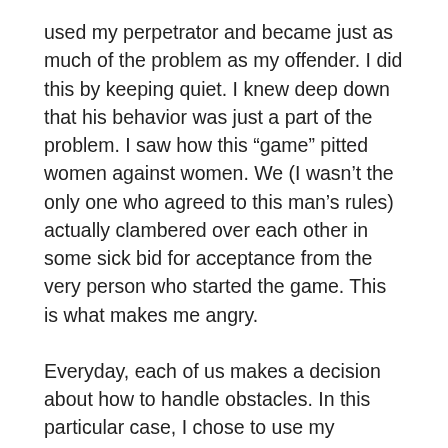used my perpetrator and became just as much of the problem as my offender. I did this by keeping quiet. I knew deep down that his behavior was just a part of the problem. I saw how this “game” pitted women against women. We (I wasn’t the only one who agreed to this man’s rules) actually clambered over each other in some sick bid for acceptance from the very person who started the game. This is what makes me angry.
Everyday, each of us makes a decision about how to handle obstacles. In this particular case, I chose to use my position with my boss as much as he used his. I could’ve done a number of proactive things—I could’ve told my boss to f**k off, reported him, spoken up, or simply walked out the door. I don’t know, maybe we thought because he started the game, his rules applied. Besides, didn’t I, in my silence admit to playing? The more I tried to play the game, the less